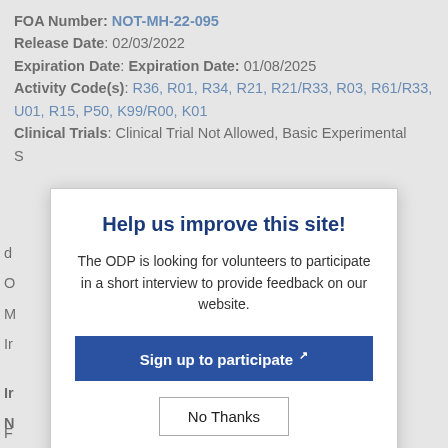FOA Number: NOT-MH-22-095
Release Date: 02/03/2022
Expiration Date: Expiration Date: 01/08/2025
Activity Code(s): R36, R01, R34, R21, R21/R33, R03, R61/R33, U01, R15, P50, K99/R00, K01
Clinical Trials: Clinical Trial Not Allowed, Basic Experimental S...
Help us improve this site!
The ODP is looking for volunteers to participate in a short interview to provide feedback on our website.
Sign up to participate
No Thanks